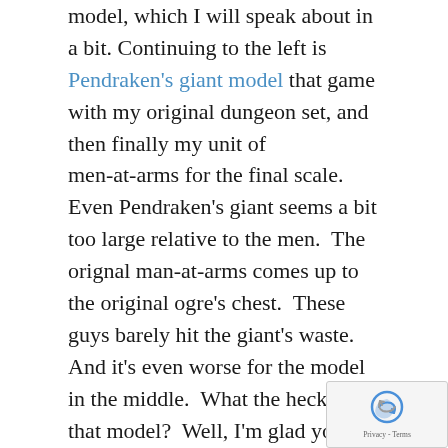model, which I will speak about in a bit.  Continuing to the left is Pendraken's giant model that game with my original dungeon set, and then finally my unit of men-at-arms for the final scale.

Even Pendraken's giant seems a bit too large relative to the men.  The orignal man-at-arms comes up to the original ogre's chest.  These guys barely hit the giant's waste.  And it's even worse for the model in the middle.  What the heck is that model?  Well, I'm glad you asked.  Remember how I described back in '92 attending GenCon where this game was firs released, and they were handing out free copies
[Figure (other): reCAPTCHA privacy badge overlay in bottom right corner]